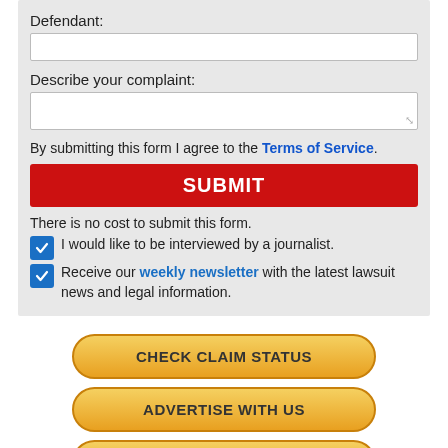Defendant:
Describe your complaint:
By submitting this form I agree to the Terms of Service.
SUBMIT
There is no cost to submit this form.
I would like to be interviewed by a journalist.
Receive our weekly newsletter with the latest lawsuit news and legal information.
CHECK CLAIM STATUS
ADVERTISE WITH US
LEGAL FUNDING CENTER
REQUEST LEGAL HELP NOW! FREE